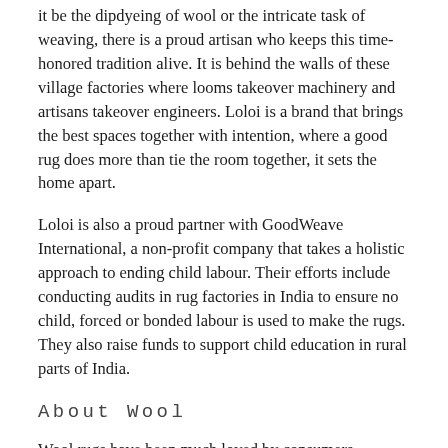it be the dipdyeing of wool or the intricate task of weaving, there is a proud artisan who keeps this time-honored tradition alive. It is behind the walls of these village factories where looms takeover machinery and artisans takeover engineers. Loloi is a brand that brings the best spaces together with intention, where a good rug does more than tie the room together, it sets the home apart.
Loloi is also a proud partner with GoodWeave International, a non-profit company that takes a holistic approach to ending child labour. Their efforts include conducting audits in rug factories in India to ensure no child, forced or bonded labour is used to make the rugs. They also raise funds to support child education in rural parts of India.
About Wool
Wool rugs have been much loved by consumers worldwide for centuries due to its many great qualities. From an eco-friendly perspective, wool is a renewable resource and is biodegradable making it a great choice for "green" households. Wool rugs typically have superior strength and durability compared to synthetic fibres. The pile of a wool rug is very sturdy and insulating.